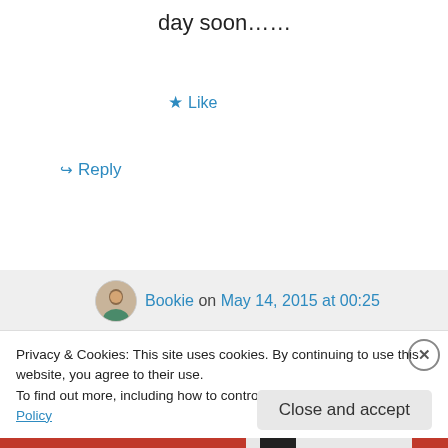day soon……
★ Like
↪ Reply
Bookie on May 14, 2015 at 00:25
Yay tag me when you do hun.
★ Like
↪ Reply
Privacy & Cookies: This site uses cookies. By continuing to use this website, you agree to their use.
To find out more, including how to control cookies, see here: Cookie Policy
Close and accept